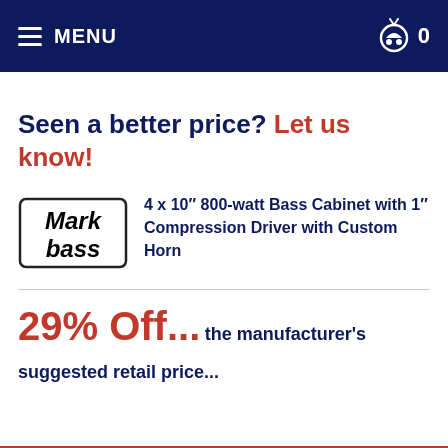MENU  0
Seen a better price? Let us know!
[Figure (logo): Markbass brand logo — stylized italic text 'Mark bass' in black with white outline]
4 x 10" 800-watt Bass Cabinet with 1" Compression Driver with Custom Horn
29% Off... the manufacturer's suggested retail price...